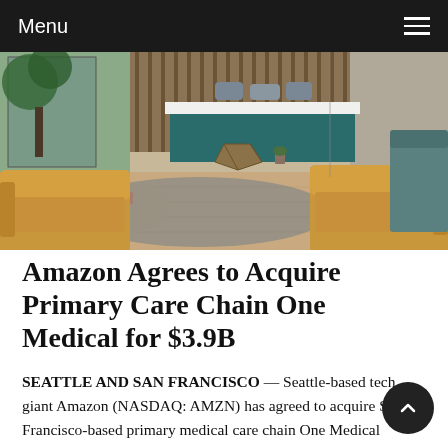Menu
[Figure (photo): Interior of a One Medical clinic waiting room with tan leather sofas, a round wooden coffee table, a round end table with plants and a magazine, a geometric metal side table, a reception desk with teal/green paneling, and a wood-slat wall backdrop. Natural light comes through large windows with tropical plants visible.]
Amazon Agrees to Acquire Primary Care Chain One Medical for $3.9B
SEATTLE AND SAN FRANCISCO — Seattle-based tech giant Amazon (NASDAQ: AMZN) has agreed to acquire San Francisco-based primary medical care chain One Medical (NASDAQ: ONEM) for $3.9 billion. One Medical operates over 180 doctor's offices throughout major metro areas in the United States.  Approximately 767,000 people have memberships to One Medical, paying a $200 annual subscription fee for the service. The company also mixes in-person,